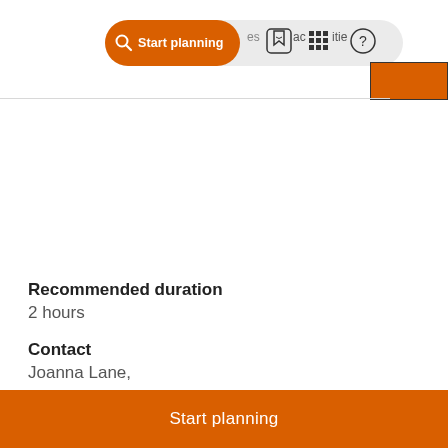[Figure (screenshot): Navigation bar with orange 'Start planning' button pill, bookmark icon, grid icon, and help/question icon on a light grey pill-shaped bar. Orange rectangle visible at top right.]
Recommended duration
2 hours
Contact
Joanna Lane,
Greenport
Start planning